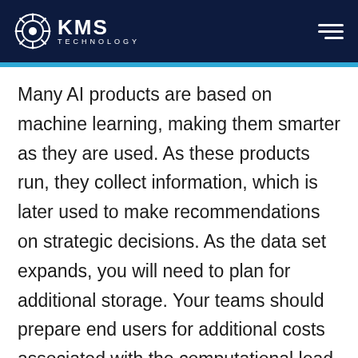KMS TECHNOLOGY
Many AI products are based on machine learning, making them smarter as they are used. As these products run, they collect information, which is later used to make recommendations on strategic decisions. As the data set expands, you will need to plan for additional storage. Your teams should prepare end users for additional costs associated with the computational load and guide the best approach (CPU vs. GPU, for